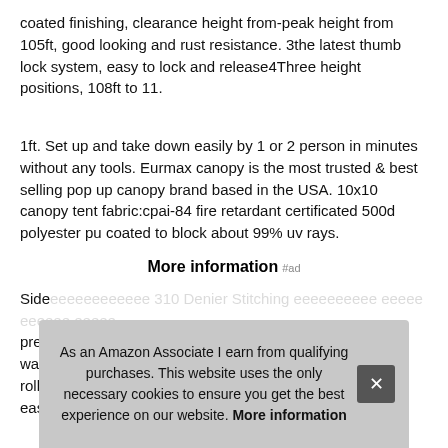coated finishing, clearance height from-peak height from 105ft, good looking and rust resistance. 3the latest thumb lock system, easy to lock and release4Three height positions, 108ft to 11.
1ft. Set up and take down easily by 1 or 2 person in minutes without any tools. Eurmax canopy is the most trusted & best selling pop up canopy brand based in the USA. 10x10 canopy tent fabric:cpai-84 fire retardant certificated 500d polyester pu coated to block about 99% uv rays.
More information #ad
Side ... 310 Denier Stitching ... rolls ... prev ... wat ... rolle ... eas...
As an Amazon Associate I earn from qualifying purchases. This website uses the only necessary cookies to ensure you get the best experience on our website. More information